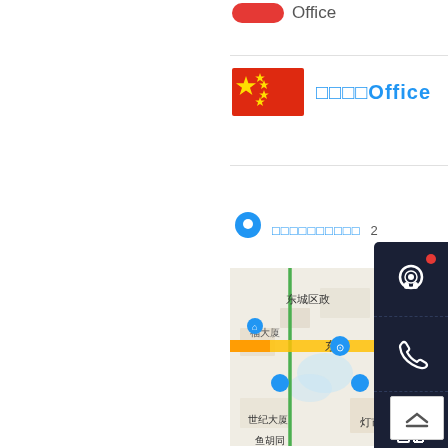[Figure (screenshot): Partial view of a website/app showing a Chinese office location page. Top area shows a red pill badge with 'Office' text. Below is a China flag icon with Chinese characters and 'Office' title in blue. A map pin icon with blue color and Chinese text label appears. A map showing Beijing area (东城区, 东四, 灯市口, 世纪大厦, 鱼胡同) is displayed. A dark navy sidebar with four icon buttons (headset with notification dot, phone, QR code, envelope) overlays the right side. A scroll-to-top button appears at bottom right.]